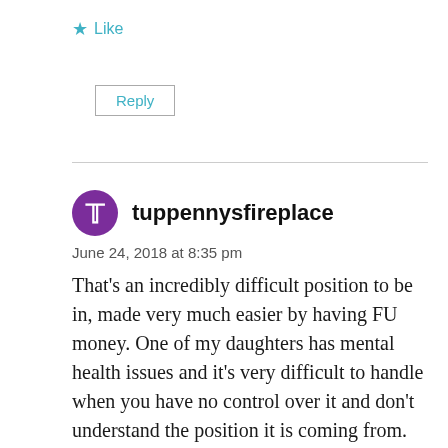★ Like
Reply
tuppennysfireplace
June 24, 2018 at 8:35 pm
That's an incredibly difficult position to be in, made very much easier by having FU money. One of my daughters has mental health issues and it's very difficult to handle when you have no control over it and don't understand the position it is coming from. Don't feel guilty for not knowing or making the connection – I